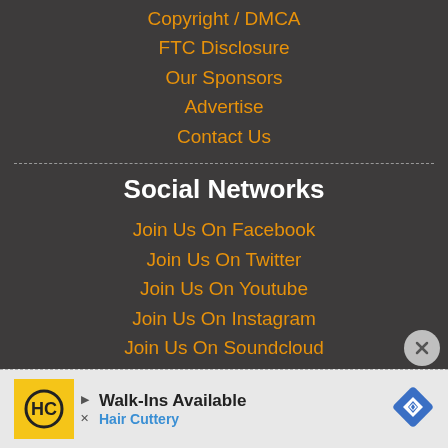Copyright / DMCA
FTC Disclosure
Our Sponsors
Advertise
Contact Us
Social Networks
Join Us On Facebook
Join Us On Twitter
Join Us On Youtube
Join Us On Instagram
Join Us On Soundcloud
Join Us On Vimeo
Walk-Ins Available
Hair Cuttery